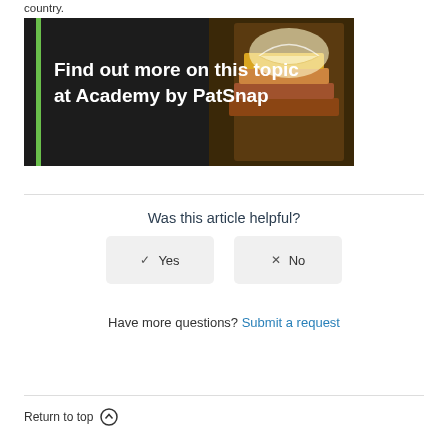country.
[Figure (illustration): Dark banner image with a green vertical bar on the left, white bold text reading 'Find out more on this topic at Academy by PatSnap', and a photo of stacked books with an open glowing book on the right side.]
Was this article helpful?
✓ Yes
✗ No
Have more questions? Submit a request
Return to top ↑